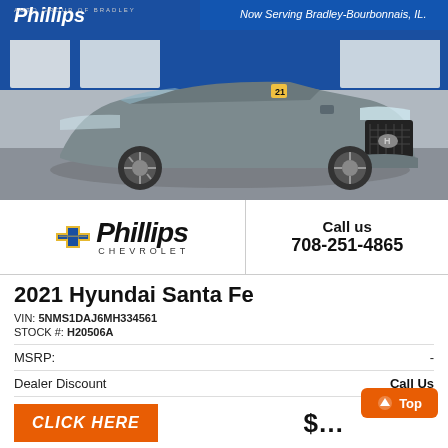[Figure (photo): 2021 Hyundai Santa Fe gray SUV parked in front of Phillips Auto Group of Bradley dealership, blue facade with white 'Phillips' logo and 'Now Serving Bradley-Bourbonnais, IL' text]
[Figure (logo): Phillips Chevrolet dealer logo: gold Chevrolet bowtie emblem with italic bold 'Phillips' text and 'CHEVROLET' beneath]
Call us
708-251-4865
2021 Hyundai Santa Fe
VIN: 5NMS1DAJ6MH334561
STOCK #: H20506A
MSRP: -
Dealer Discount    Call Us
CLICK HERE
[Figure (other): Orange 'Top' scroll-to-top button with up arrow]